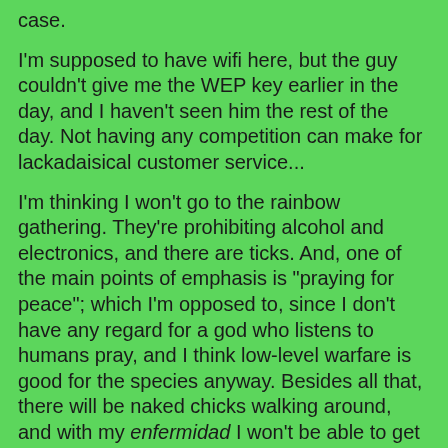case.
I'm supposed to have wifi here, but the guy couldn't give me the WEP key earlier in the day, and I haven't seen him the rest of the day. Not having any competition can make for lackadaisical customer service...
I'm thinking I won't go to the rainbow gathering. They're prohibiting alcohol and electronics, and there are ticks. And, one of the main points of emphasis is "praying for peace"; which I'm opposed to, since I don't have any regard for a god who listens to humans pray, and I think low-level warfare is good for the species anyway. Besides all that, there will be naked chicks walking around, and with my enfermidad I won't be able to get laid. Why make myself suffer like that?
I might just get on the next bus to Matamoros, after spending the night here at the hostel, since I already paid for it. This town is too expensive, like Puerto Vallarta, though I did find some relatively inexpensive seafood restaurants along Arista street. A pretty young girl with piercings all over her face was handing out flyers, and she and her friend walked me to the place, an ugly pink-and-blue building on the corner of Arista and Landero y Coss. The name of the restaurant -- there are several sharing the same building -- is Parrillada Jarocha,